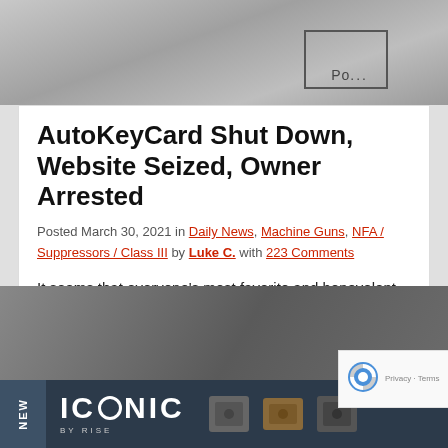[Figure (photo): Close-up photo of a metal card or plate being held, with a faint rectangle outline visible]
AutoKeyCard Shut Down, Website Seized, Owner Arrested
Posted March 30, 2021 in Daily News, Machine Guns, NFA / Suppressors / Class III by Luke C. with 223 Comments
It seems that everyone's most favorite and benevolent government agency has moved on from pestering solvent trap and Form 1 parts kit manufacturers and upgraded to harassing novelty business card makers. For those that don't know, AutoKeyCard is or was, a [Read More...]
[Figure (photo): Close-up photo of a black firearm suppressor or barrel component]
[Figure (advertisement): ICONIC by RISE advertisement banner with NEW tag, logo, and product images of trigger components]